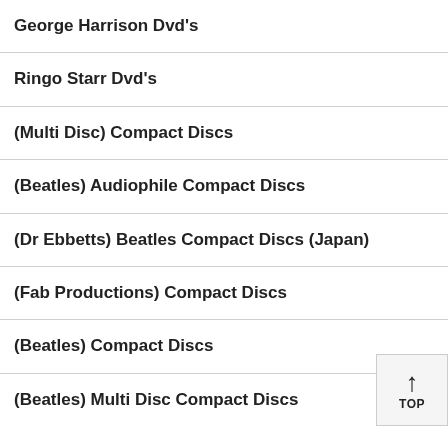George Harrison Dvd's
Ringo Starr Dvd's
(Multi Disc) Compact Discs
(Beatles) Audiophile Compact Discs
(Dr Ebbetts) Beatles Compact Discs (Japan)
(Fab Productions) Compact Discs
(Beatles) Compact Discs
(Beatles) Multi Disc Compact Discs